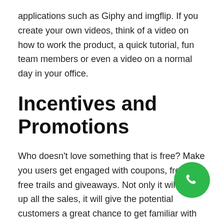applications such as Giphy and imgflip. If you create your own videos, think of a video on how to work the product, a quick tutorial, fun team members or even a video on a normal day in your office.
Incentives and Promotions
Who doesn't love something that is free? Make you users get engaged with coupons, freebies, free trails and giveaways. Not only it will pump up all the sales, it will give the potential customers a great chance to get familiar with your brand. For maximum effectiveness and reach, consider tying all the promotion to some
[Figure (other): Green circular phone call button icon in the bottom-right area of the page]